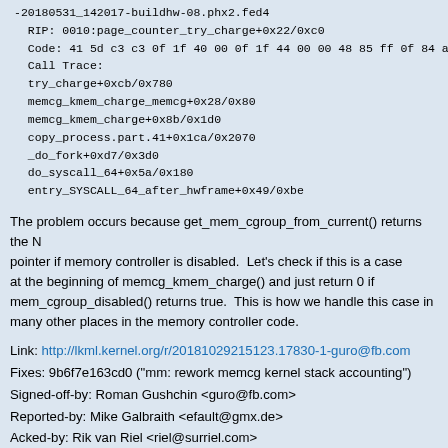-20180531_142017-buildhw-08.phx2.fed4
  RIP: 0010:page_counter_try_charge+0x22/0xc0
  Code: 41 5d c3 c3 0f 1f 40 00 0f 1f 44 00 00 48 85 ff 0f 84 a7 00 00 00 41
  Call Trace:
  try_charge+0xcb/0x780
  memcg_kmem_charge_memcg+0x28/0x80
  memcg_kmem_charge+0x8b/0x1d0
  copy_process.part.41+0x1ca/0x2070
  _do_fork+0xd7/0x3d0
  do_syscall_64+0x5a/0x180
  entry_SYSCALL_64_after_hwframe+0x49/0xbe
The problem occurs because get_mem_cgroup_from_current() returns the NULL pointer if memory controller is disabled.  Let's check if this is a case at the beginning of memcg_kmem_charge() and just return 0 if mem_cgroup_disabled() returns true.  This is how we handle this case in many other places in the memory controller code.
Link: http://lkml.kernel.org/r/20181029215123.17830-1-guro@fb.com
Fixes: 9b6f7e163cd0 ("mm: rework memcg kernel stack accounting")
Signed-off-by: Roman Gushchin <guro@fb.com>
Reported-by: Mike Galbraith <efault@gmx.de>
Acked-by: Rik van Riel <riel@surriel.com>
Acked-by: Michal Hocko <mhocko@suse.com>